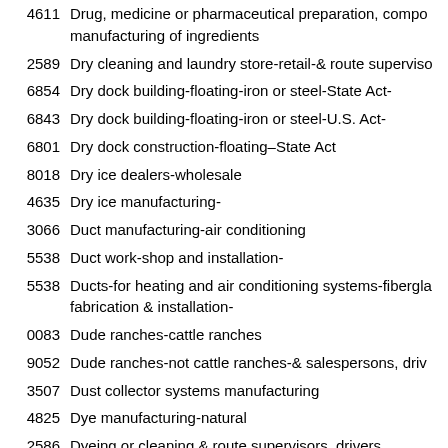4611 Drug, medicine or pharmaceutical preparation, compounding or manufacturing of ingredients
2589 Dry cleaning and laundry store-retail-& route supervisors
6854 Dry dock building-floating-iron or steel-State Act-
6843 Dry dock building-floating-iron or steel-U.S. Act-
6801 Dry dock construction-floating–State Act
8018 Dry ice dealers-wholesale
4635 Dry ice manufacturing-
3066 Duct manufacturing-air conditioning
5538 Duct work-shop and installation-
5538 Ducts-for heating and air conditioning systems-fiberglass-fabrication & installation-
0083 Dude ranches-cattle ranches
9052 Dude ranches-not cattle ranches-& salespersons, drivers
3507 Dust collector systems manufacturing
4825 Dye manufacturing-natural
2586 Dyeing or cleaning & route supervisors, drivers
4021 Earthenware or tile manufacturing NOC